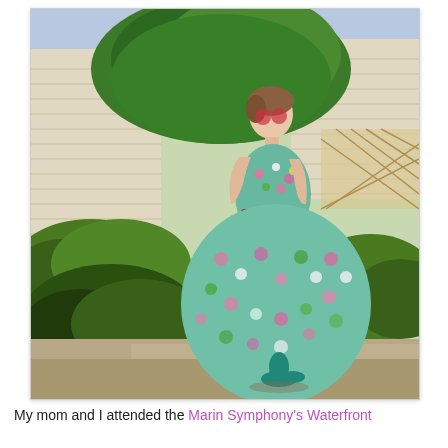[Figure (photo): A woman wearing a vintage-style floral dress (light blue/green with pink and white flowers), red belt, red round sunglasses, and teal heeled sandals, standing outdoors in a garden/yard area with green bushes and trees, and a white building visible in the background. She is posing with her back partially to the camera, looking over her shoulder.]
My mom and I attended the Marin Symphony's Waterfront